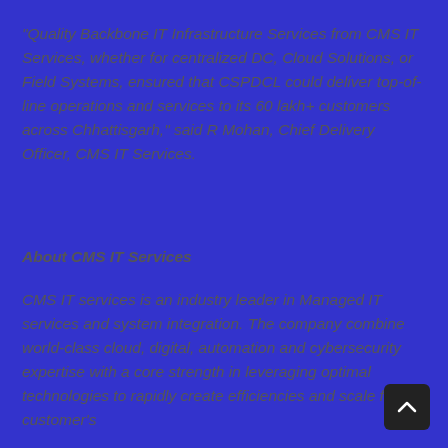“Quality Backbone IT Infrastructure Services from CMS IT Services, whether for centralized DC, Cloud Solutions, or Field Systems, ensured that CSPDCL could deliver top-of-line operations and services to its 60 lakh+ customers across Chhattisgarh,” said R Mohan, Chief Delivery Officer, CMS IT Services.
About CMS IT Services
CMS IT services is an industry leader in Managed IT services and system integration. The company combine world-class cloud, digital, automation and cybersecurity expertise with a core strength in leveraging optimal technologies to rapidly create efficiencies and scale for our customer’s